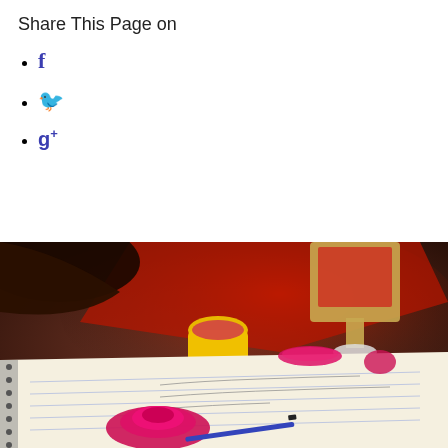Share This Page on
f (Facebook icon)
Twitter bird icon
g+ (Google Plus icon)
[Figure (photo): A desk scene with a spiral notebook open on the surface, a pink Play-Doh sculpture shaped like a rose on the notebook, a blue pen, a yellow Play-Doh container, pink Play-Doh lids and scraps on the desk, a small mirror or picture frame in the background, and a hand reaching from the upper left. The scene has warm, moody lighting.]